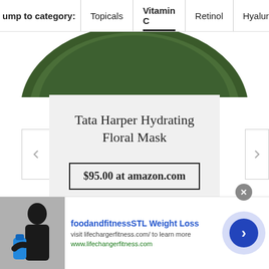ump to category: Topicals | Vitamin C | Retinol | Hyaluronic Acid
[Figure (photo): Partial top view of a green circular product container, cropped at top of visible area]
Tata Harper Hydrating Floral Mask
$95.00 at amazon.com
[Figure (photo): Advertisement showing a person holding a blue water bottle. Text: foodandfitnessSTL Weight Loss. visit lifechargerfitness.com/ to learn more. www.lifechangerfitness.com]